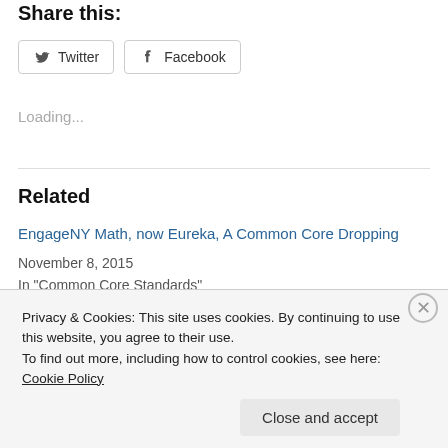Share this:
[Figure (other): Social share buttons: Twitter and Facebook]
Loading...
Related
EngageNY Math, now Eureka, A Common Core Dropping
November 8, 2015
In "Common Core Standards"
Privacy & Cookies: This site uses cookies. By continuing to use this website, you agree to their use.
To find out more, including how to control cookies, see here: Cookie Policy